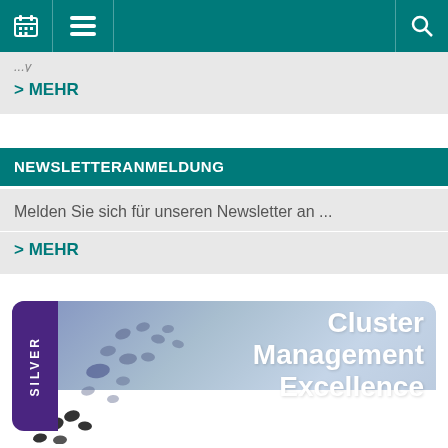Navigation bar with calendar, menu, and search icons
...y
> MEHR
NEWSLETTERANMELDUNG
Melden Sie sich für unseren Newsletter an ...
> MEHR
[Figure (logo): Silver Cluster Management Excellence badge with purple left stripe reading SILVER, decorative cluster dots, and text: Cluster Management Excellence, DEDICATED TO CLUSTER EXCELLENCE]
[Figure (illustration): Partial bottom image showing dots/cluster graphic]